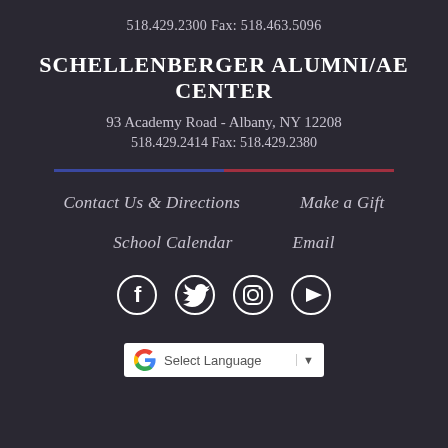518.429.2300 Fax: 518.463.5096
SCHELLENBERGER ALUMNI/AE CENTER
93 Academy Road - Albany, NY 12208
518.429.2414 Fax: 518.429.2380
Contact Us & Directions
Make a Gift
School Calendar
Email
[Figure (infographic): Social media icons: Facebook, Twitter, Instagram, YouTube]
[Figure (other): Google Translate widget with 'Select Language' dropdown]